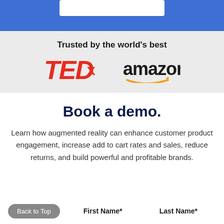[Figure (screenshot): Blue header band with white search/input box at the top]
Trusted by the world's best
[Figure (logo): TEDx logo in red italic bold font and Amazon logo in black with orange smile arrow]
Book a demo.
Learn how augmented reality can enhance customer product engagement, increase add to cart rates and sales, reduce returns, and build powerful and profitable brands.
Back to Top
First Name*
Last Name*